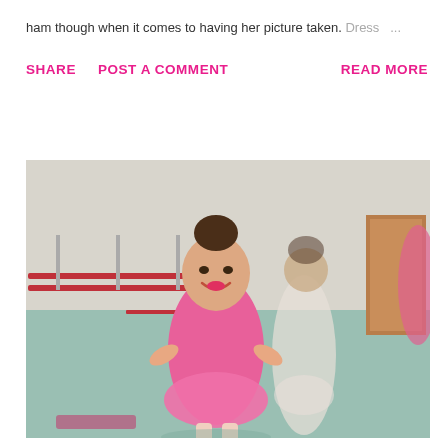ham though when it comes to having her picture taken. Dress ...
SHARE    POST A COMMENT    READ MORE
[Figure (photo): Two young girls in a ballet studio. The girl in the foreground wears a pink leotard and skirt with her hair in a bun, smiling with hands on hips. Another girl in a white leotard stands behind her. Ballet barres are visible on the wall in the background.]